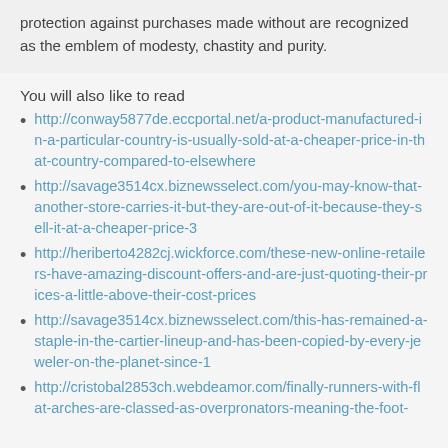protection against purchases made without are recognized as the emblem of modesty, chastity and purity.
You will also like to read
http://conway5877de.eccportal.net/a-product-manufactured-in-a-particular-country-is-usually-sold-at-a-cheaper-price-in-that-country-compared-to-elsewhere
http://savage3514cx.biznewsselect.com/you-may-know-that-another-store-carries-it-but-they-are-out-of-it-because-they-sell-it-at-a-cheaper-price-3
http://heriberto4282cj.wickforce.com/these-new-online-retailers-have-amazing-discount-offers-and-are-just-quoting-their-prices-a-little-above-their-cost-prices
http://savage3514cx.biznewsselect.com/this-has-remained-a-staple-in-the-cartier-lineup-and-has-been-copied-by-every-jeweler-on-the-planet-since-1
http://cristobal2853ch.webdeamor.com/finally-runners-with-flat-arches-are-classed-as-overpronators-meaning-the-foot-